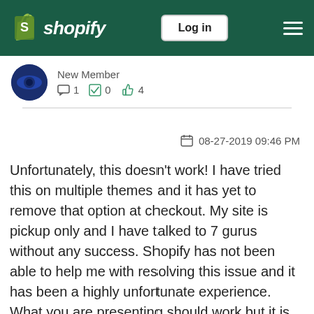shopify  Log in
New Member
1  0  4
08-27-2019 09:46 PM
Unfortunately, this doesn't work! I have tried this on multiple themes and it has yet to remove that option at checkout. My site is pickup only and I have talked to 7 gurus without any success. Shopify has not been able to help me with resolving this issue and it has been a highly unfortunate experience. What you are presenting should work but it is not and I need real help solving this matter!